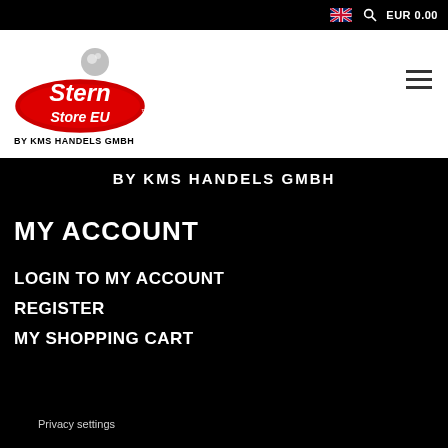EUR 0.00
[Figure (logo): Stern Store EU by KMS Handels GmbH logo with pinball on top]
BY KMS HANDELS GMBH
MY ACCOUNT
LOGIN TO MY ACCOUNT
REGISTER
MY SHOPPING CART
Privacy settings